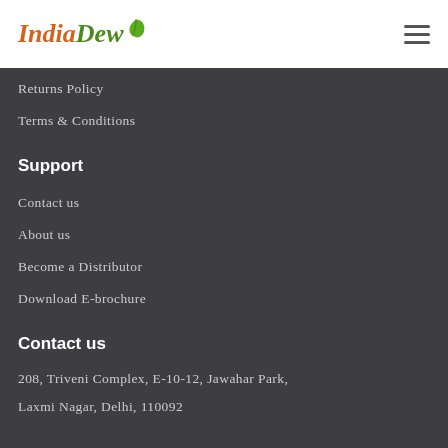IndiaDew
Returns Policy
Terms & Conditions
Support
Contact us
About us
Become a Distributor
Download E-brochure
Contact us
208, Triveni Complex, E-10-12, Jawahar Park, Laxmi Nagar, Delhi, 110092